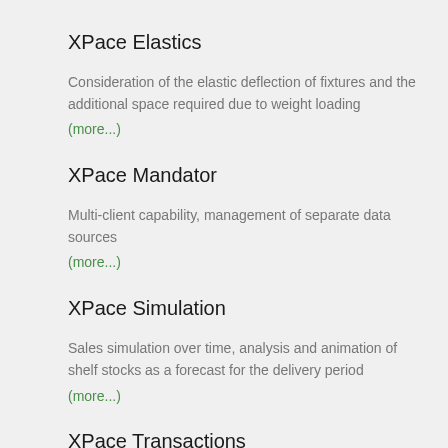XPace Elastics
Consideration of the elastic deflection of fixtures and the additional space required due to weight loading
(more...)
XPace Mandator
Multi-client capability, management of separate data sources
(more...)
XPace Simulation
Sales simulation over time, analysis and animation of shelf stocks as a forecast for the delivery period
(more...)
XPace Transactions